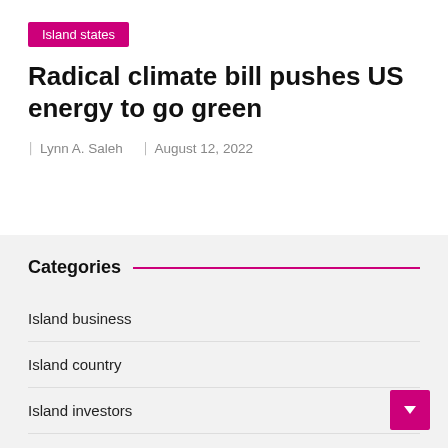Island states
Radical climate bill pushes US energy to go green
Lynn A. Saleh  |  August 12, 2022
Categories
Island business
Island country
Island investors